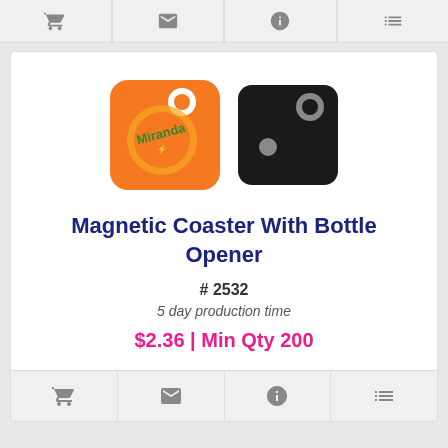[Figure (screenshot): Top navigation toolbar with cart, mail, info, and list icons]
[Figure (photo): Product images: orange Miranda-branded magnetic coaster with bottle opener, and black magnetic coaster with bottle opener]
Magnetic Coaster With Bottle Opener
# 2532
5 day production time
$2.36 | Min Qty 200
[Figure (screenshot): Bottom navigation toolbar with cart, mail, info, and list icons]